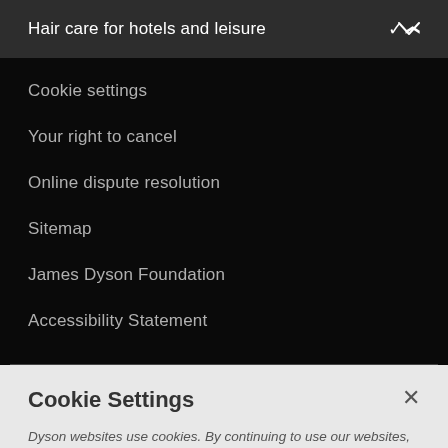Hair care for hotels and leisure
Cookie settings
Your right to cancel
Online dispute resolution
Sitemap
James Dyson Foundation
Accessibility Statement
Cookie Settings
Dyson websites use cookies. By continuing to use our websites, you accept that cookies may be stored on your device, as outlined in our Cookie Policy